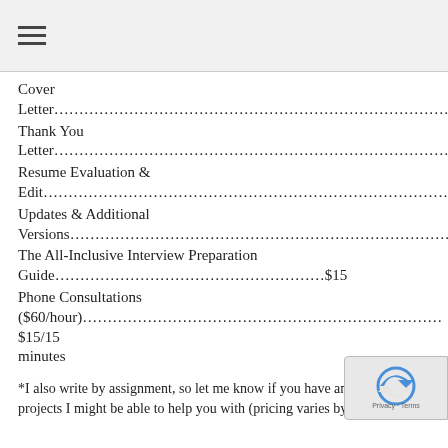≡
Cover Letter………………………………………………………………………
Thank You Letter………………………………………………………………………
Resume Evaluation & Edit………………………………………………………………………
Updates & Additional Versions………………………………………………………………………
The All-Inclusive Interview Preparation Guide………………………………………………$15
Phone Consultations ($60/hour)………………………………………………………………$15/15 minutes
*I also write by assignment, so let me know if you have any projects I might be able to help you with (pricing varies by